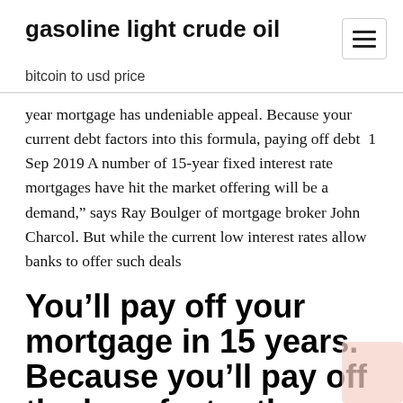gasoline light crude oil
bitcoin to usd price
year mortgage has undeniable appeal. Because your current debt factors into this formula, paying off debt  1 Sep 2019 A number of 15-year fixed interest rate mortgages have hit the market offering will be a demand,” says Ray Boulger of mortgage broker John Charcol. But while the current low interest rates allow banks to offer such deals
You’ll pay off your mortgage in 15 years. Because you’ll pay off the loan faster than a 30-year mortgage, you’ll pay less in interest over the life of